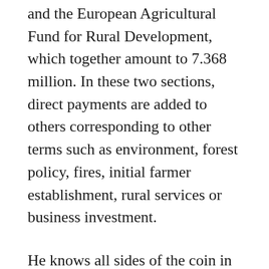and the European Agricultural Fund for Rural Development, which together amount to 7.368 million. In these two sections, direct payments are added to others corresponding to other terms such as environment, forest policy, fires, initial farmer establishment, rural services or business investment.
He knows all sides of the coin in detail.
Subscribe to
Thousands of beneficiaries